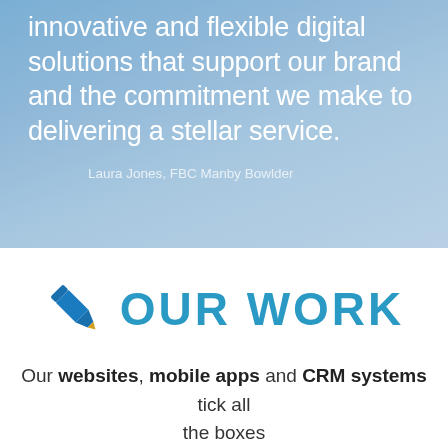innovative and flexible digital solutions that support our brand and the commitment we make to delivering a stellar service.
Laura Jones, FBC Manby Bowlder
[Figure (illustration): Blue pencil icon]
OUR WORK
Our websites, mobile apps and CRM systems tick all the boxes